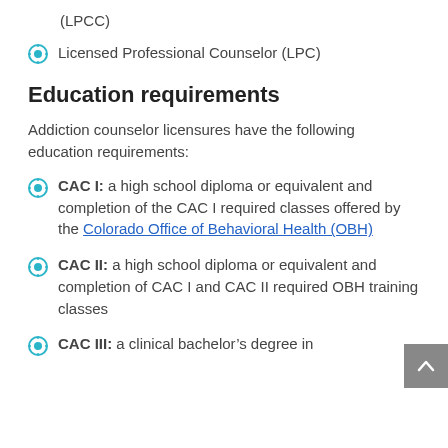(LPCC)
Licensed Professional Counselor (LPC)
Education requirements
Addiction counselor licensures have the following education requirements:
CAC I: a high school diploma or equivalent and completion of the CAC I required classes offered by the Colorado Office of Behavioral Health (OBH)
CAC II: a high school diploma or equivalent and completion of CAC I and CAC II required OBH training classes
CAC III: a clinical bachelor’s degree in